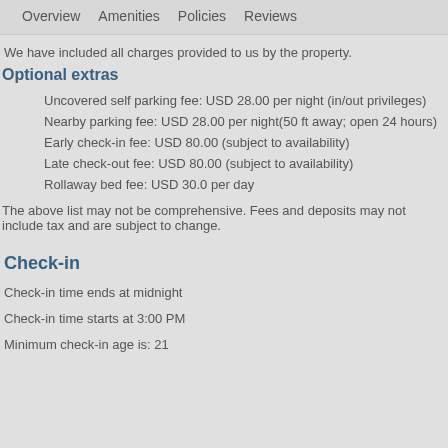Overview   Amenities   Policies   Reviews
We have included all charges provided to us by the property.
Optional extras
Uncovered self parking fee: USD 28.00 per night (in/out privileges)
Nearby parking fee: USD 28.00 per night(50 ft away; open 24 hours)
Early check-in fee: USD 80.00 (subject to availability)
Late check-out fee: USD 80.00 (subject to availability)
Rollaway bed fee: USD 30.0 per day
The above list may not be comprehensive. Fees and deposits may not include tax and are subject to change.
Check-in
Check-in time ends at midnight
Check-in time starts at 3:00 PM
Minimum check-in age is: 21